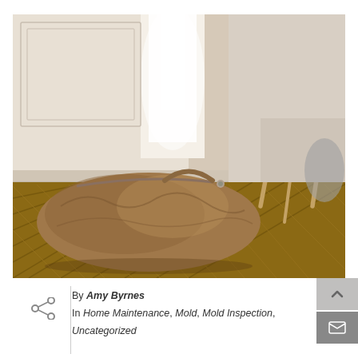[Figure (photo): A brown leather duffel bag lying on a wooden herringbone floor next to a white modern chair with wooden legs. The background shows a white paneled wall and sheer curtains with soft light coming through.]
By Amy Byrnes
In Home Maintenance, Mold, Mold Inspection, Uncategorized